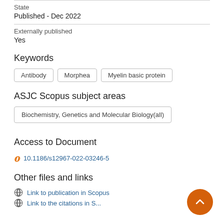State
Published - Dec 2022
Externally published
Yes
Keywords
Antibody
Morphea
Myelin basic protein
ASJC Scopus subject areas
Biochemistry, Genetics and Molecular Biology(all)
Access to Document
10.1186/s12967-022-03246-5
Other files and links
Link to publication in Scopus
Link to the citations in Scopus